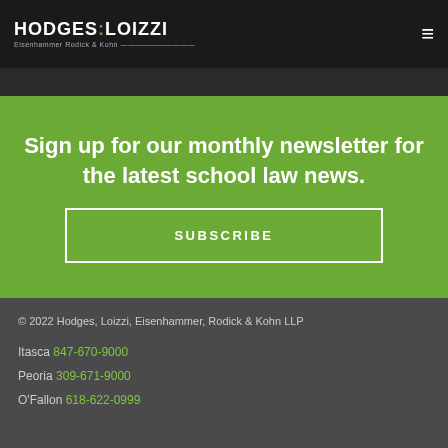HODGES LOIZZI Eisenhammer Rodick & Kohn
Sign up for our monthly newsletter for the latest school law news.
SUBSCRIBE
© 2022 Hodges, Loizzi, Eisenhammer, Rodick & Kohn LLP
Itasca 847-670-9000
Peoria 309-671-9000
O'Fallon 618-622-0999